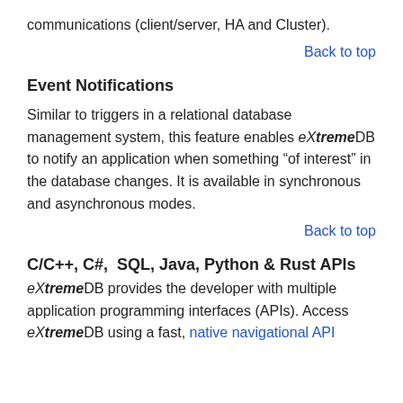communications (client/server, HA and Cluster).
Back to top
Event Notifications
Similar to triggers in a relational database management system, this feature enables eXtremeDB to notify an application when something “of interest” in the database changes. It is available in synchronous and asynchronous modes.
Back to top
C/C++, C#,  SQL, Java, Python & Rust APIs
eXtremeDB provides the developer with multiple application programming interfaces (APIs). Access eXtremeDB using a fast, native navigational API